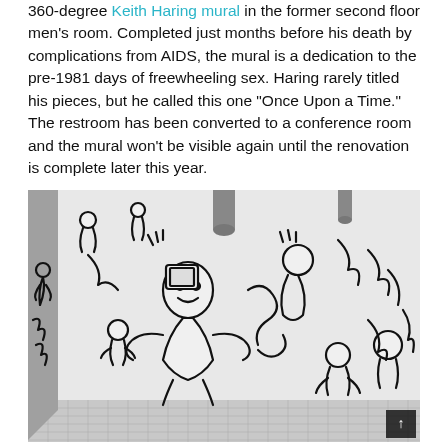360-degree Keith Haring mural in the former second floor men's room. Completed just months before his death by complications from AIDS, the mural is a dedication to the pre-1981 days of freewheeling sex. Haring rarely titled his pieces, but he called this one "Once Upon a Time." The restroom has been converted to a conference room and the mural won't be visible again until the renovation is complete later this year.
[Figure (photo): Black and white photograph of Keith Haring's 'Once Upon a Time' mural painted on the walls and ceiling of a former men's restroom, showing characteristic bold black outlines of intertwined human figures and abstract forms in Haring's signature style.]